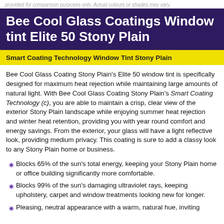provided for comparison purposes only. Actual colours or shades may vary.
Bee Cool Glass Coatings Window tint Elite 50 Stony Plain
Smart Coating Technology Window Tint Stony Plain
Bee Cool Glass Coating Stony Plain's Elite 50 window tint is specifically designed for maximum heat rejection while maintaining large amounts of natural light. With Bee Cool Glass Coating Stony Plain's Smart Coating Technology (c), you are able to maintain a crisp, clear view of the exterior Stony Plain landscape while enjoying summer heat rejection and winter heat retention, providing you with year round comfort and energy savings. From the exterior, your glass will have a light reflective look, providing medium privacy. This coating is sure to add a classy look to any Stony Plain home or business.
Blocks 65% of the sun's total energy, keeping your Stony Plain home or office building significantly more comfortable.
Blocks 99% of the sun's damaging ultraviolet rays, keeping upholstery, carpet and window treatments looking new for longer.
Pleasing, neutral appearance with a warm, natural hue, inviting